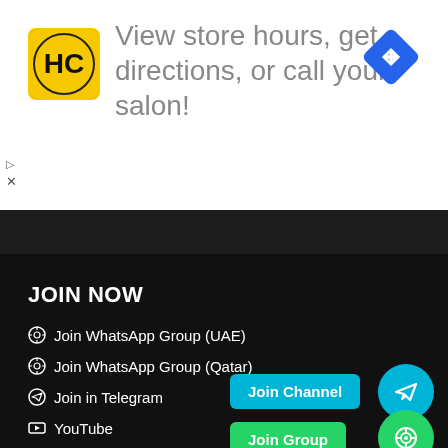[Figure (infographic): Advertisement banner with HC logo, text 'View store hours, get directions, or call your salon!' and a blue navigation diamond icon]
gineering & Construction
JOIN NOW
Join WhatsApp Group (UAE)
Join WhatsApp Group (Qatar)
Join in Telegram
YouTube
Our Facebook Group
Join Channel
Join Group